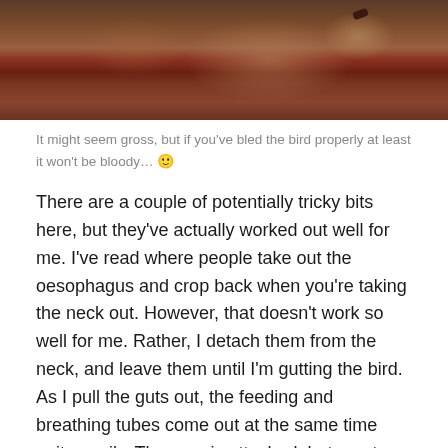[Figure (photo): Close-up photo of a raw bird/chicken carcass on a dark reddish-brown surface, likely a cutting board, during butchering process]
It might seem gross, but if you've bled the bird properly at least it won't be bloody... 🙂
There are a couple of potentially tricky bits here, but they've actually worked out well for me. I've read where people take out the oesophagus and crop back when you're taking the neck out. However, that doesn't work so well for me. Rather, I detach them from the neck, and leave them until I'm gutting the bird. As I pull the guts out, the feeding and breathing tubes come out at the same time quite easily. The crop is attached, but empty because we've purged the birds, which might be why it's easy.
The other tricky part is supposed to be the lungs, but I've